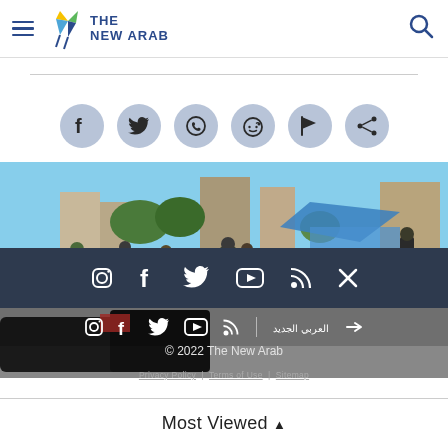The New Arab — navigation header with hamburger menu and search icon
[Figure (infographic): Row of 6 circular social share buttons: Facebook, Twitter, WhatsApp, Reddit, Rumble/flag, Share]
[Figure (photo): Street scene photo showing people on a road with buildings and a blue tent in background, partially overlaid by a dark social-media icon banner and a secondary icon bar]
© 2022 The New Arab
Privacy Policy  |  Terms of Use  |  Sitemap
Most Viewed ^